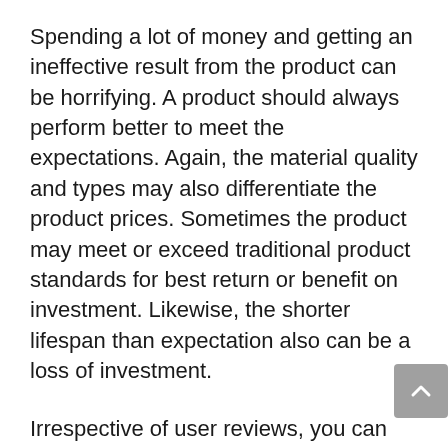Spending a lot of money and getting an ineffective result from the product can be horrifying. A product should always perform better to meet the expectations. Again, the material quality and types may also differentiate the product prices. Sometimes the product may meet or exceed traditional product standards for best return or benefit on investment. Likewise, the shorter lifespan than expectation also can be a loss of investment.
Irrespective of user reviews, you can find many ways to know your desired marionette puppets's performance and durability. You should try to see the source of materials used in producing the product. Indeed, the